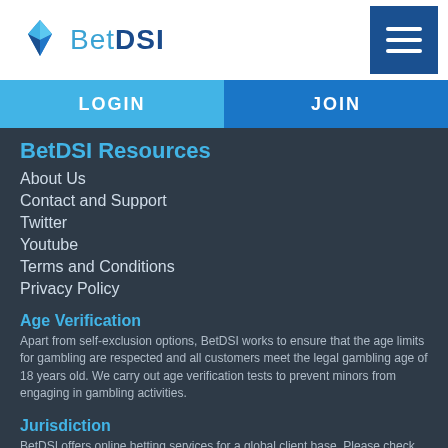BetDSI
LOGIN
JOIN
BetDSI Resources
About Us
Contact and Support
Twitter
Youtube
Terms and Conditions
Privacy Policy
Age Verification
Apart from self-exclusion options, BetDSI works to ensure that the age limits for gambling are respected and all customers meet the legal gambling age of 18 years old. We carry out age verification tests to prevent minors from engaging in gambling activities.
Jurisdiction
BetDSI offers online betting services for a global client base. Please check with your jurisdiction to verify if online gambling is legal in you territory.